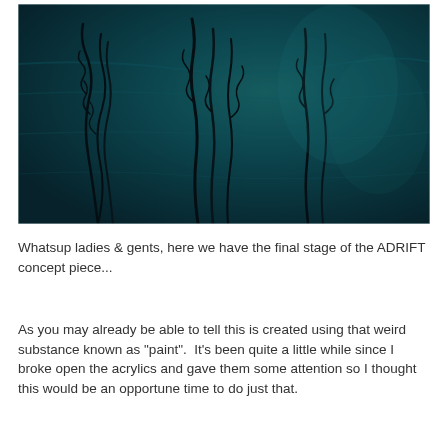[Figure (illustration): Dark teal/navy painting showing flowing, wispy dark smoke-like forms rising against a deep teal textured background — an acrylic concept piece titled ADRIFT]
Whatsup ladies & gents, here we have the final stage of the ADRIFT concept piece...
As you may already be able to tell this is created using that weird substance known as "paint".  It's been quite a little while since I broke open the acrylics and gave them some attention so I thought this would be an opportune time to do just that.